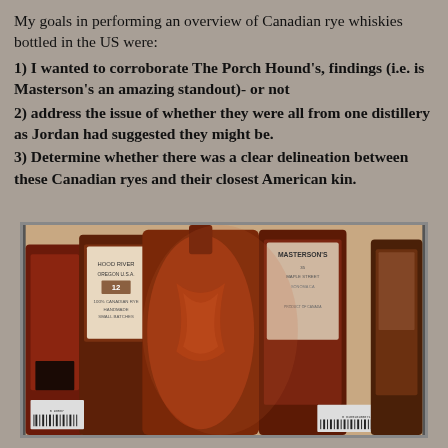My goals in performing an overview of Canadian rye whiskies bottled in the US were:
1) I wanted to corroborate The Porch Hound's, findings (i.e. is Masterson's an amazing standout)- or not
2) address the issue of whether they were all from one distillery as Jordan had suggested they might be.
3) Determine whether there was a clear delineation between these Canadian ryes and their closest American kin.
[Figure (photo): A photo of several Canadian rye whisky bottles lined up, showing their back labels. Bottles include Masterson's and others with Oregon/Canadian labels. The bottles are amber/brown in color with ornate detailing visible on one central bottle.]